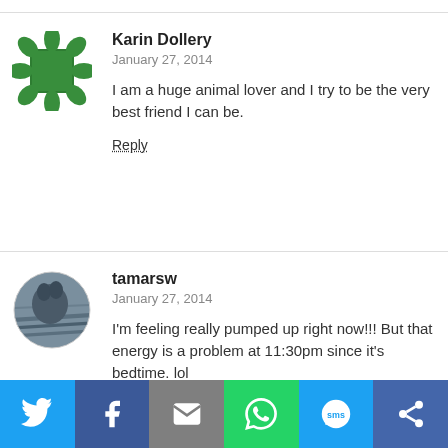Reply
[Figure (illustration): Karin Dollery avatar: green leaf/diamond pattern border around green square]
Karin Dollery
January 27, 2014
I am a huge animal lover and I try to be the very best friend I can be.
Reply
[Figure (photo): tamarsw avatar: circular photo of an animal (looks like a small animal/bird on a textured surface)]
tamarsw
January 27, 2014
I'm feeling really pumped up right now!!! But that energy is a problem at 11:30pm since it's bedtime. lol
Reply
[Figure (illustration): l p avatar: blue and white geometric/diamond pattern in circle]
l p
January 27, 2014
I have great 'won't' power.  thanks
[Figure (infographic): Social sharing bar with Twitter, Facebook, Email, WhatsApp, SMS, and another sharing icon buttons]